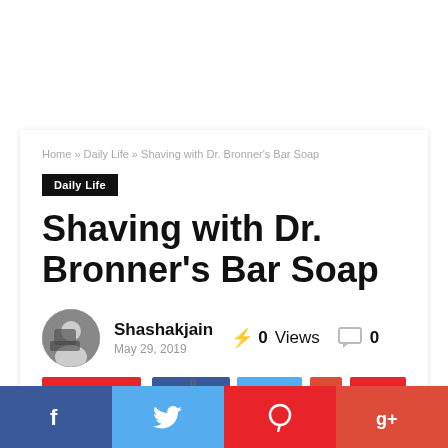Home » Daily Life » Shaving with Dr. Bronner's Bar Soap
Daily Life
Shaving with Dr. Bronner's Bar Soap
Shashakjain
May 29, 2019
0 Views
0
Facebook | Twitter | Pinterest | Google+